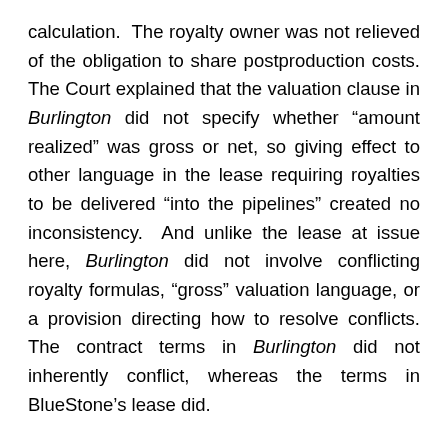calculation.  The royalty owner was not relieved of the obligation to share postproduction costs. The Court explained that the valuation clause in Burlington did not specify whether “amount realized” was gross or net, so giving effect to other language in the lease requiring royalties to be delivered “into the pipelines” created no inconsistency.  And unlike the lease at issue here, Burlington did not involve conflicting royalty formulas, “gross” valuation language, or a provision directing how to resolve conflicts. The contract terms in Burlington did not inherently conflict, whereas the terms in BlueStone’s lease did.
Plant fuel and compressor fuel